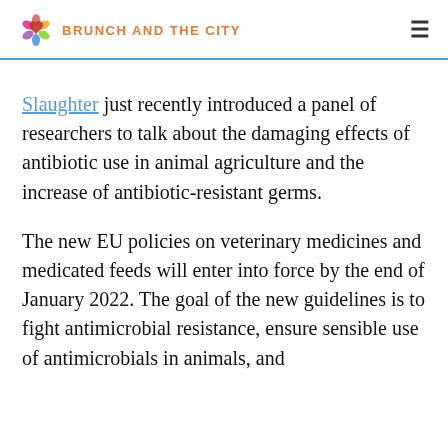BRUNCH AND THE CITY
Slaughter just recently introduced a panel of researchers to talk about the damaging effects of antibiotic use in animal agriculture and the increase of antibiotic-resistant germs.
The new EU policies on veterinary medicines and medicated feeds will enter into force by the end of January 2022. The goal of the new guidelines is to fight antimicrobial resistance, ensure sensible use of antimicrobials in animals, and